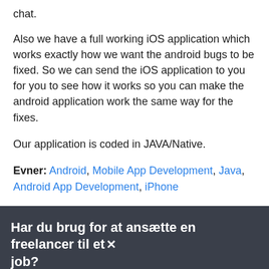chat.
Also we have a full working iOS application which works exactly how we want the android bugs to be fixed. So we can send the iOS application to you for you to see how it works so you can make the android application work the same way for the fixes.
Our application is coded in JAVA/Native.
Evner: Android, Mobile App Development, Java, Android App Development, iPhone
Har du brug for at ansætte en freelancer til et job?
Opret et projekt